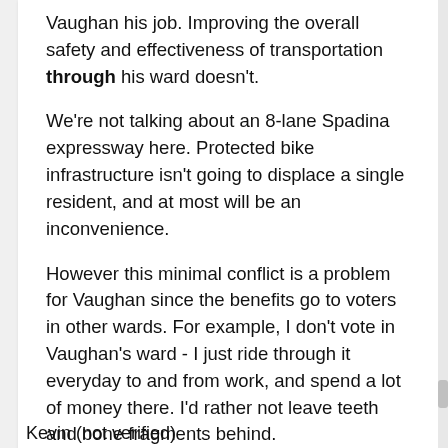Vaughan his job. Improving the overall safety and effectiveness of transportation through his ward doesn't.

We're not talking about an 8-lane Spadina expressway here. Protected bike infrastructure isn't going to displace a single resident, and at most will be an inconvenience.

However this minimal conflict is a problem for Vaughan since the benefits go to voters in other wards. For example, I don't vote in Vaughan's ward - I just ride through it everyday to and from work, and spend a lot of money there. I'd rather not leave teeth and bone fragments behind.
Kevin (not verified)